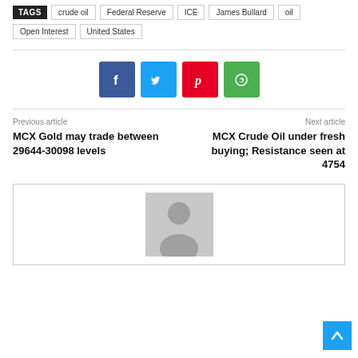TAGS  crude oil  Federal Reserve  ICE  James Bullard  oil  Open Interest  United States
[Figure (other): Social share buttons: Facebook, Twitter, Pinterest, WhatsApp]
Previous article
MCX Gold may trade between 29644-30098 levels
Next article
MCX Crude Oil under fresh buying; Resistance seen at 4754
[Figure (photo): Author profile placeholder image with silhouette]